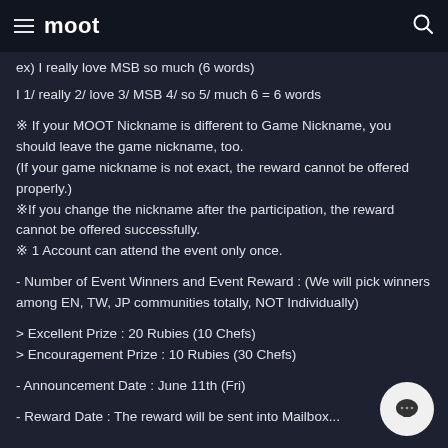moot
ex) I really love MSB so much (6 words)
I 1/ really 2/ love 3/ MSB 4/ so 5/ much 6 = 6 words
※ If your MOOT Nickname is different to Game Nickname, you should leave the game nickname, too.
(If your game nickname is not exact, the reward cannot be offered properly.)
※If you change the nickname after the participation, the reward cannot be offered successfully.
※ 1 Account can attend the event only once.
- Number of Event Winners and Event Reward : (We will pick winners among EN, TW, JP communities totally, NOT Individually)
> Excellent Prize : 20 Rubies (10 Chefs)
> Encouragement Prize : 10 Rubies (30 Chefs)
- Announcement Date : June 11th (Fri)
- Reward Date : The reward will be sent into Mailbox...